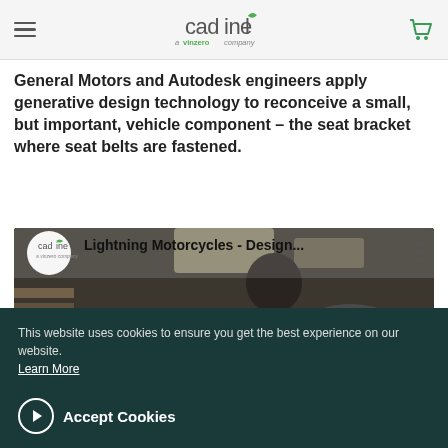cadline – a vinzero company
General Motors and Autodesk engineers apply generative design technology to reconceive a small, but important, vehicle component – the seat bracket where seat belts are fastened.
[Figure (screenshot): YouTube video thumbnail showing 'Lightning Motorcycles - Design...' with Cadline logo, a person working on a motorcycle, and a YouTube play button overlay.]
This website uses cookies to ensure you get the best experience on our website. Learn More
Accept Cookies